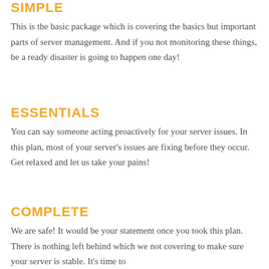SIMPLE
This is the basic package which is covering the basics but important parts of server management. And if you not monitoring these things, be a ready disaster is going to happen one day!
ESSENTIALS
You can say someone acting proactively for your server issues. In this plan, most of your server's issues are fixing before they occur. Get relaxed and let us take your pains!
COMPLETE
We are safe! It would be your statement once you took this plan. There is nothing left behind which we not covering to make sure your server is stable. It's time to